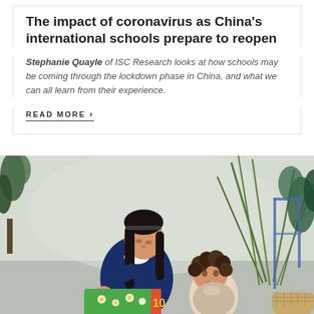The impact of coronavirus as China's international schools prepare to reopen
Stephanie Quayle of ISC Research looks at how schools may be coming through the lockdown phase in China, and what we can all learn from their experience.
READ MORE ›
[Figure (photo): A young woman in a navy blue school uniform/sweatshirt reading a green picture book to a young curly-haired child, with indoor plants in the background]